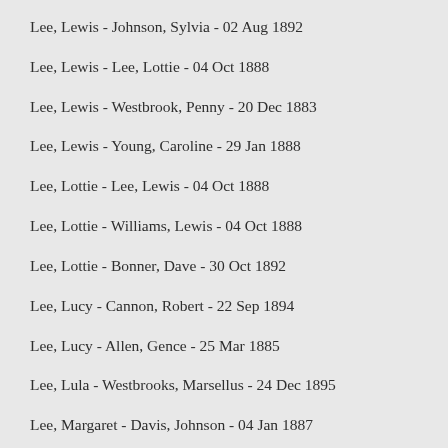Lee, Lewis - Johnson, Sylvia - 02 Aug 1892
Lee, Lewis - Lee, Lottie - 04 Oct 1888
Lee, Lewis - Westbrook, Penny - 20 Dec 1883
Lee, Lewis - Young, Caroline - 29 Jan 1888
Lee, Lottie - Lee, Lewis - 04 Oct 1888
Lee, Lottie - Williams, Lewis - 04 Oct 1888
Lee, Lottie - Bonner, Dave - 30 Oct 1892
Lee, Lucy - Cannon, Robert - 22 Sep 1894
Lee, Lucy - Allen, Gence - 25 Mar 1885
Lee, Lula - Westbrooks, Marsellus - 24 Dec 1895
Lee, Margaret - Davis, Johnson - 04 Jan 1887